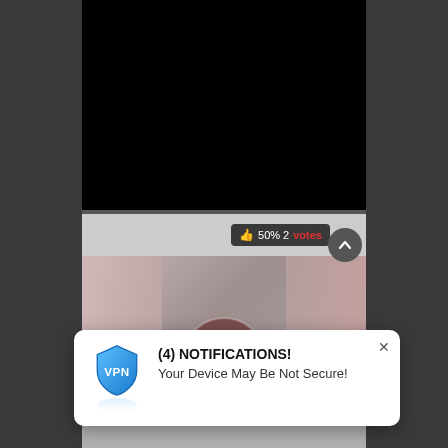[Figure (screenshot): Dark browser/media player interface showing a black video area at top, a vote/rating strip showing '50% 2 votes' with thumbs up icon, and a thumbnail image below featuring women in swimwear with a stylized 'S' logo in the center]
[Figure (screenshot): Pop-up notification overlay with VPN shield icon, title '(4) NOTIFICATIONS!' and body text 'Your Device May Be Not Secure!' with a close X button]